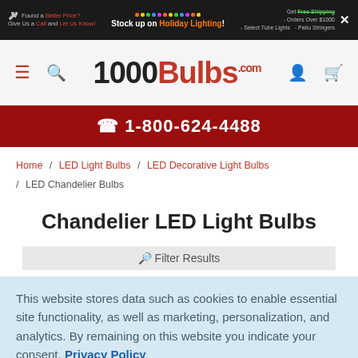Found a Better Price? Give Us a Call and Let Us Know! | Stock up on Holiday Lighting! | Get Free Shipping - Orders Over $1000 - Select Tube Lights - Patio Stringers
[Figure (logo): 1000Bulbs.com logo with hamburger menu and search icon on left, user and cart icons on right]
1-800-624-4488
Home / LED Light Bulbs / LED Decorative Light Bulbs / LED Chandelier Bulbs
Chandelier LED Light Bulbs
Filter Results
This website stores data such as cookies to enable essential site functionality, as well as marketing, personalization, and analytics. By remaining on this website you indicate your consent. Privacy Policy